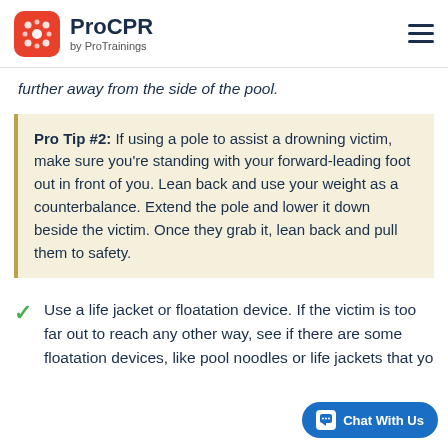ProCPR by ProTrainings
further away from the side of the pool.
Pro Tip #2: If using a pole to assist a drowning victim, make sure you're standing with your forward-leading foot out in front of you. Lean back and use your weight as a counterbalance. Extend the pole and lower it down beside the victim. Once they grab it, lean back and pull them to safety.
Use a life jacket or floatation device. If the victim is too far out to reach any other way, see if there are some floatation devices, like pool noodles or life jackets that yo...